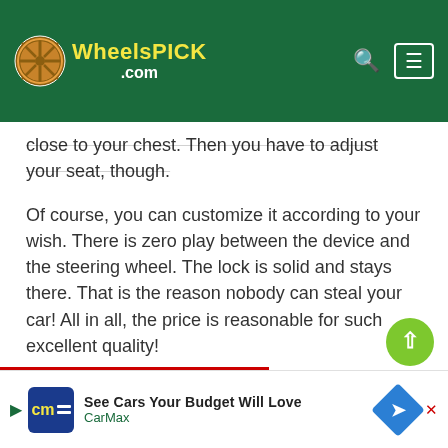WheelsPICK .com
close to your chest. Then you have to adjust your seat, though.
Of course, you can customize it according to your wish. There is zero play between the device and the steering wheel. The lock is solid and stays there. That is the reason nobody can steal your car! All in all, the price is reasonable for such excellent quality!